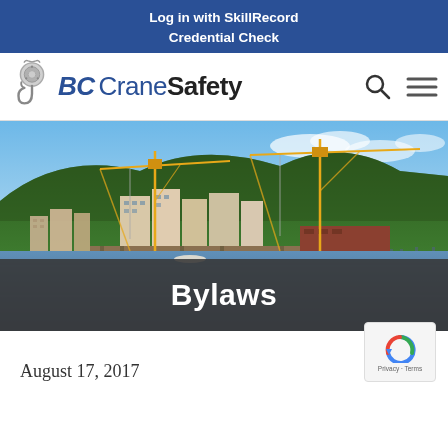Log in with SkillRecord
Credential Check
[Figure (logo): BC Crane Safety logo with pulley/hook icon and stylized text]
[Figure (photo): Coastal construction site with two tower cranes, waterfront buildings, forested hillside, and marina in background]
Bylaws
August 17, 2017
[Figure (other): reCAPTCHA badge with Privacy and Terms links]